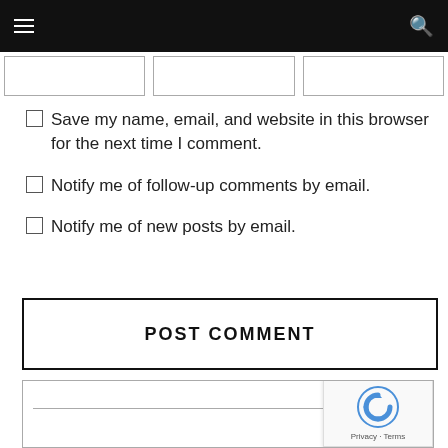Navigation bar with hamburger menu and search icon
[Figure (screenshot): Three empty input text boxes side by side]
Save my name, email, and website in this browser for the next time I comment.
Notify me of follow-up comments by email.
Notify me of new posts by email.
POST COMMENT
[Figure (screenshot): Bottom form box with a horizontal line and reCAPTCHA badge showing logo, Privacy and Terms links]